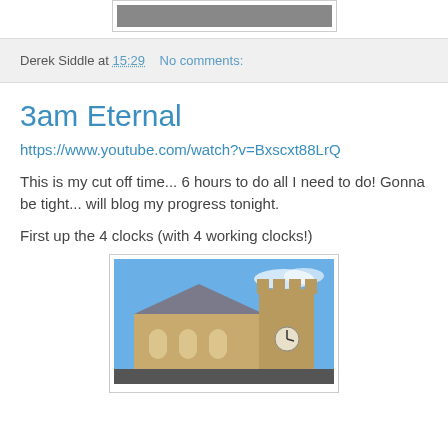[Figure (photo): Partial top image, cropped at top of page]
Derek Siddle at 15:29    No comments:
3am Eternal
https://www.youtube.com/watch?v=Bxscxt88LrQ
This is my cut off time... 6 hours to do all I need to do! Gonna be tight... will blog my progress tonight.
First up the 4 clocks (with 4 working clocks!)
[Figure (photo): Photograph of a stone church with a clock tower against a blue sky]